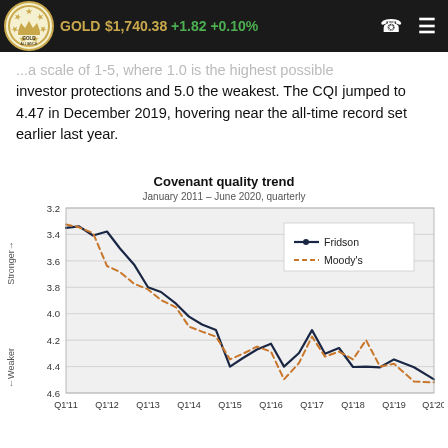GOLD $1,740.38 +1.82 +0.10%
...a scale of 1-5, where 1.0 is the highest possible investor protections and 5.0 the weakest. The CQI jumped to 4.47 in December 2019, hovering near the all-time record set earlier last year.
[Figure (line-chart): Covenant quality trend]